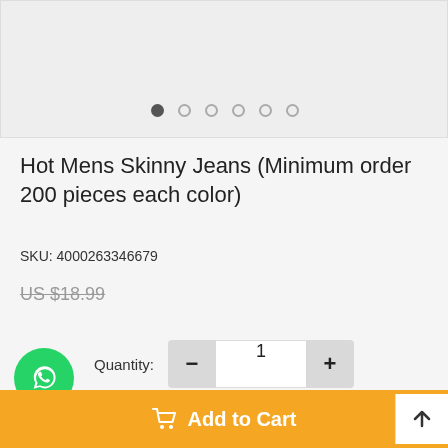[Figure (screenshot): Product image carousel area with 6 navigation dots, first dot filled/active]
Hot Mens Skinny Jeans (Minimum order 200 pieces each color)
SKU: 4000263346679
US $18.99
Quantity: 1
Add to Cart